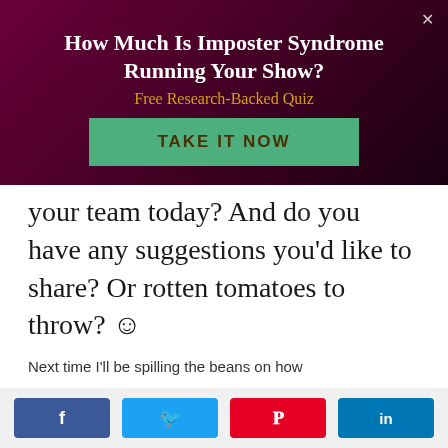How Much Is Imposter Syndrome Running Your Show?
Free Research-Backed Quiz
TAKE IT NOW
your team today? And do you have any suggestions you'd like to share? Or rotten tomatoes to throw? ☺
Next time I'll be spilling the beans on how